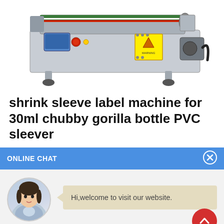[Figure (photo): Shrink sleeve label machine / PVC sleever industrial equipment shown on white background, top portion visible]
shrink sleeve label machine for 30ml chubby gorilla bottle PVC sleever
ONLINE CHAT
[Figure (screenshot): Online chat widget with avatar of woman named Cilina and speech bubble saying 'Hi,welcome to visit our website.']